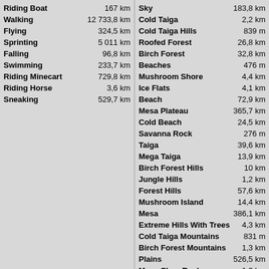| Activity/Biome | Distance |
| --- | --- |
| Riding Boat | 167 km |
| Walking | 12 733,8 km |
| Flying | 324,5 km |
| Sprinting | 5 011 km |
| Falling | 96,8 km |
| Swimming | 233,7 km |
| Riding Minecart | 729,8 km |
| Riding Horse | 3,6 km |
| Sneaking | 529,7 km |
| Sky | 183,8 km |
| Cold Taiga | 2,2 km |
| Cold Taiga Hills | 839 m |
| Roofed Forest | 26,8 km |
| Birch Forest | 32,8 km |
| Beaches | 476 m |
| Mushroom Shore | 4,4 km |
| Ice Flats | 4,1 km |
| Beach | 72,9 km |
| Mesa Plateau | 365,7 km |
| Cold Beach | 24,5 km |
| Savanna Rock | 276 m |
| Taiga | 39,6 km |
| Mega Taiga | 13,9 km |
| Birch Forest Hills | 10 km |
| Jungle Hills | 1,2 km |
| Forest Hills | 57,6 km |
| Mushroom Island | 14,4 km |
| Mesa | 386,1 km |
| Extreme Hills With Trees | 4,3 km |
| Cold Taiga Mountains | 831 m |
| Birch Forest Mountains | 1,3 km |
| Plains | 526,5 km |
| Mesa Clear Rock | 1,2 km |
| Stone Beach | 69,2 km |